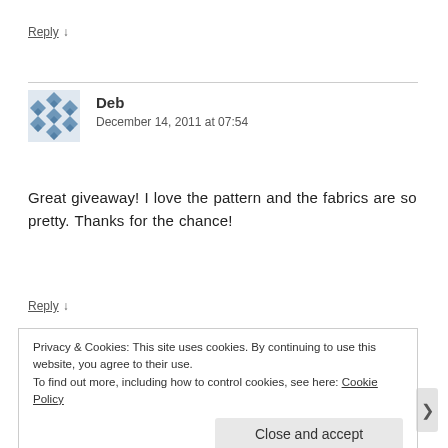Reply ↓
[Figure (illustration): Blue geometric patterned avatar icon for user Deb]
Deb
December 14, 2011 at 07:54
Great giveaway! I love the pattern and the fabrics are so pretty. Thanks for the chance!
Reply ↓
Privacy & Cookies: This site uses cookies. By continuing to use this website, you agree to their use.
To find out more, including how to control cookies, see here: Cookie Policy
Close and accept